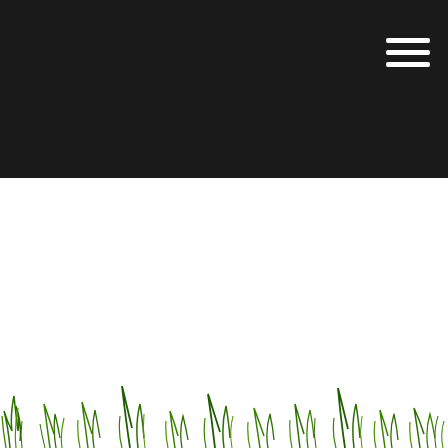[Figure (illustration): Dark black header bar with a hamburger menu icon (three white horizontal lines) in the top-right corner]
[Figure (illustration): Decorative grass illustration along the bottom of the page showing green grass blades of varying heights]